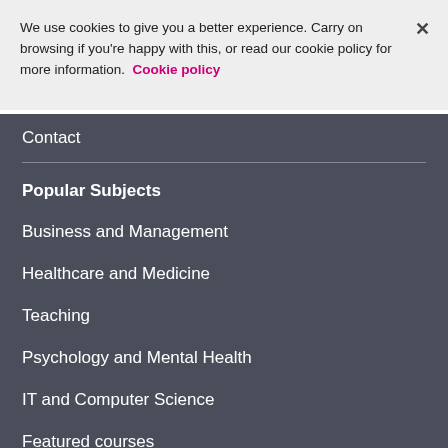We use cookies to give you a better experience. Carry on browsing if you're happy with this, or read our cookie policy for more information. Cookie policy
Contact
Popular Subjects
Business and Management
Healthcare and Medicine
Teaching
Psychology and Mental Health
IT and Computer Science
Featured courses